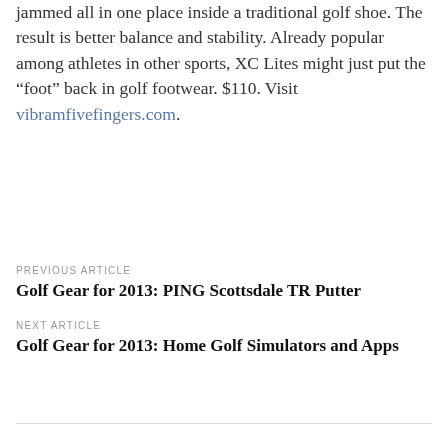jammed all in one place inside a traditional golf shoe. The result is better balance and stability. Already popular among athletes in other sports, XC Lites might just put the “foot” back in golf footwear. $110. Visit vibramfivefingers.com.
PREVIOUS ARTICLE
Golf Gear for 2013: PING Scottsdale TR Putter
NEXT ARTICLE
Golf Gear for 2013: Home Golf Simulators and Apps